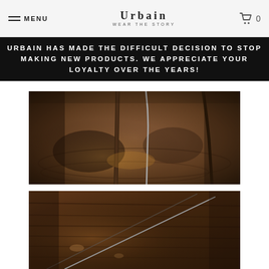MENU | URBAIN WEAR THE STORY | 0
URBAIN HAS MADE THE DIFFICULT DECISION TO STOP MAKING NEW PRODUCTS. WE APPRECIATE YOUR LOYALTY OVER THE YEARS!
[Figure (photo): Close-up macro photo of metal needles or pins stuck into dark charred wood or bark surface, with warm brown tones and shallow depth of field.]
[Figure (photo): Close-up macro photo of a thin metal wire or rod diagonally crossing a dark textured wood grain surface, warm brown/amber tones.]